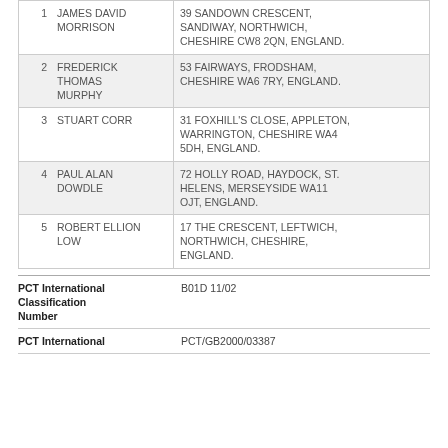| # | Name | Address |
| --- | --- | --- |
| 1 | JAMES DAVID MORRISON | 39 SANDOWN CRESCENT, SANDIWAY, NORTHWICH, CHESHIRE CW8 2QN, ENGLAND. |
| 2 | FREDERICK THOMAS MURPHY | 53 FAIRWAYS, FRODSHAM, CHESHIRE WA6 7RY, ENGLAND. |
| 3 | STUART CORR | 31 FOXHILL'S CLOSE, APPLETON, WARRINGTON, CHESHIRE WA4 5DH, ENGLAND. |
| 4 | PAUL ALAN DOWDLE | 72 HOLLY ROAD, HAYDOCK, ST. HELENS, MERSEYSIDE WA11 OJT, ENGLAND. |
| 5 | ROBERT ELLION LOW | 17 THE CRESCENT, LEFTWICH, NORTHWICH, CHESHIRE, ENGLAND. |
PCT International Classification Number: B01D 11/02
PCT International: PCT/GB2000/03387